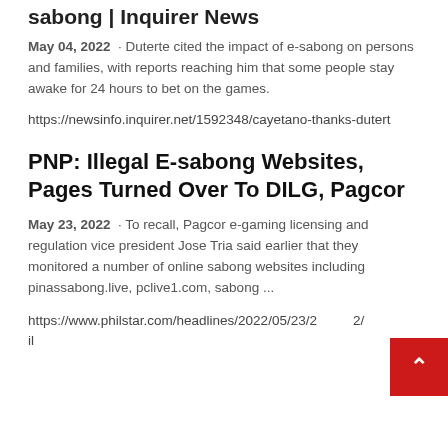sabong | Inquirer News
May 04, 2022 · Duterte cited the impact of e-sabong on persons and families, with reports reaching him that some people stay awake for 24 hours to bet on the games.
https://newsinfo.inquirer.net/1592348/cayetano-thanks-dutert
PNP: Illegal E-sabong Websites, Pages Turned Over To DILG, Pagcor
May 23, 2022 · To recall, Pagcor e-gaming licensing and regulation vice president Jose Tria said earlier that they monitored a number of online sabong websites including pinassabong.live, pclive1.com, sabong ...
https://www.philstar.com/headlines/2022/05/23/2... il